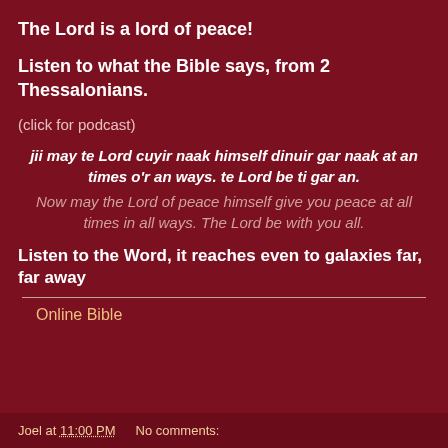The Lord is a lord of peace!
Listen to what the Bible says, from 2 Thessalonians.
(click for podcast)
jii may te Lord cuyir naak himself dinuir gar naak at an times o'r an ways. te Lord be ti gar an.
Now may the Lord of peace himself give you peace at all times in all ways. The Lord be with you all.
Listen to the Word, it reaches even to galaxies far, far away
Online Bible
Joel at 11:00 PM    No comments: